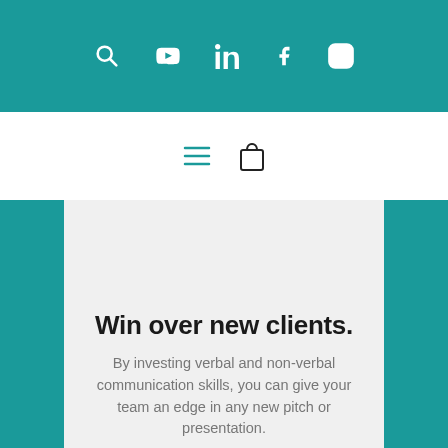[Figure (screenshot): Teal top navigation bar with social/search icons: search (magnifier), YouTube, LinkedIn, Facebook, Instagram — all white on teal background]
[Figure (screenshot): White navigation bar with a hamburger menu icon and a shopping bag icon in teal/black]
Win over new clients.
By investing verbal and non-verbal communication skills, you can give your team an edge in any new pitch or presentation.